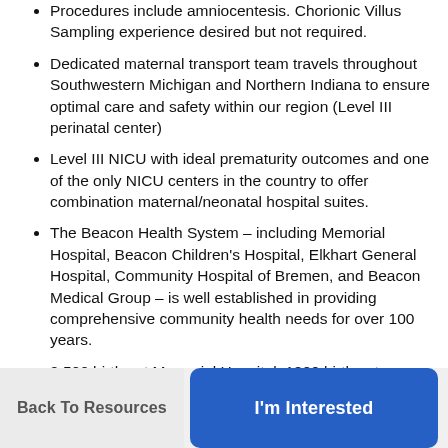Procedures include amniocentesis. Chorionic Villus Sampling experience desired but not required.
Dedicated maternal transport team travels throughout Southwestern Michigan and Northern Indiana to ensure optimal care and safety within our region (Level III perinatal center)
Level III NICU with ideal prematurity outcomes and one of the only NICU centers in the country to offer combination maternal/neonatal hospital suites.
The Beacon Health System – including Memorial Hospital, Beacon Children's Hospital, Elkhart General Hospital, Community Hospital of Bremen, and Beacon Medical Group – is well established in providing comprehensive community health needs for over 100 years.
2,500 births at Memorial Hospital, 1800 births at Elkhart General Hospital annually.
Back To Resources | I'm Interested